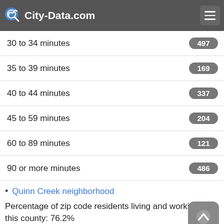City-Data.com
| Category | Value |
| --- | --- |
| 30 to 34 minutes | 497 |
| 35 to 39 minutes | 169 |
| 40 to 44 minutes | 337 |
| 45 to 59 minutes | 204 |
| 60 to 89 minutes | 121 |
| 90 or more minutes | 486 |
Quinn Creek neighborhood
Percentage of zip code residents living and working in this county: 76.2%
Household type by relationship: